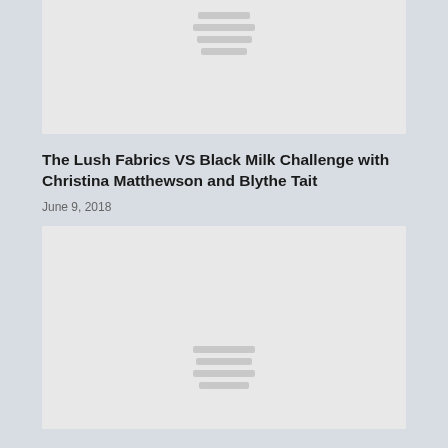[Figure (photo): Image placeholder (loading) at top of article]
The Lush Fabrics VS Black Milk Challenge with Christina Matthewson and Blythe Tait
June 9, 2018
[Figure (photo): Image placeholder (loading) below article header]